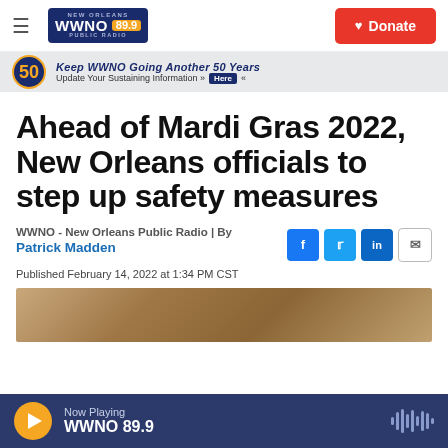WWNO 89.9 - NEW ORLEANS PUBLIC RADIO | Donate
[Figure (logo): WWNO 89.9 New Orleans Public Radio logo on dark blue background with orange frequency badge]
[Figure (infographic): Advertisement banner: Keep WWNO Going Another 50 Years - Update Your Sustaining Information - Here]
Ahead of Mardi Gras 2022, New Orleans officials to step up safety measures
WWNO - New Orleans Public Radio | By Patrick Madden
Published February 14, 2022 at 1:34 PM CST
[Figure (photo): Partial photo showing a room with an official seal and flags, likely a government press conference setting]
Now Playing WWNO 89.9